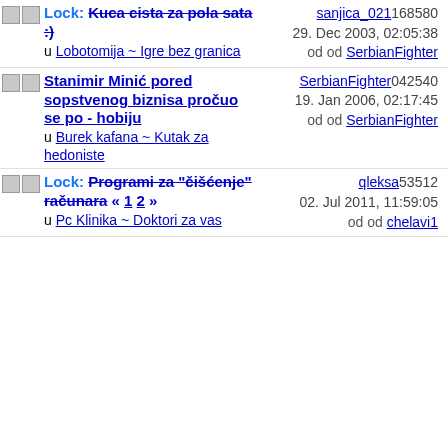Lock: Kuca cista za pola sata :) u Lobotomija ~ Igre bez granica | sanjica_021 168580 29. Dec 2003, 02:05:38 od od SerbianFighter
Stanimir Minić pored sopstvenog biznisa pročuo se po - hobiju u Burek kafana ~ Kutak za hedoniste | SerbianFighter 042540 19. Jan 2006, 02:17:45 od od SerbianFighter
Lock: Programi za "čišćenje" računara « 1 2 » u Pc Klinika ~ Doktori za vas kompjuter | qleksa 53512 02. Jul 2011, 11:59:05 od od chelavi1